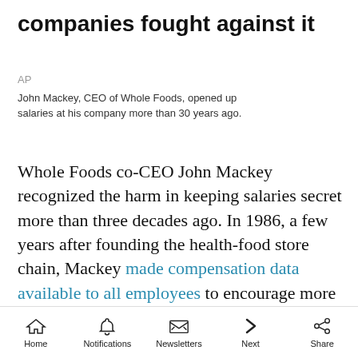companies fought against it
AP
John Mackey, CEO of Whole Foods, opened up salaries at his company more than 30 years ago.
Whole Foods co-CEO John Mackey recognized the harm in keeping salaries secret more than three decades ago. In 1986, a few years after founding the health-food store chain, Mackey made compensation data available to all employees to encourage more conversation among staff members and to promote
Home  Notifications  Newsletters  Next  Share